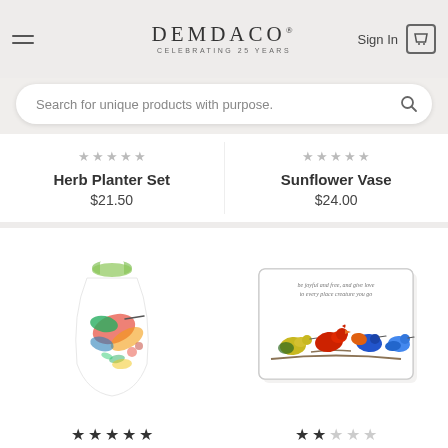DEMDACO — CELEBRATING 25 YEARS — Sign In — Cart
Search for unique products with purpose.
Herb Planter Set
$21.50
Sunflower Vase
$24.00
[Figure (photo): White ceramic vase with colorful hummingbird watercolor artwork and green interior]
[Figure (photo): Rectangular white plaque with colorful perched birds and inspirational text: be joyful and free, and give love to every place creature you go]
★★★★★ (5 stars rating)
★★☆☆☆ (2 stars rating)